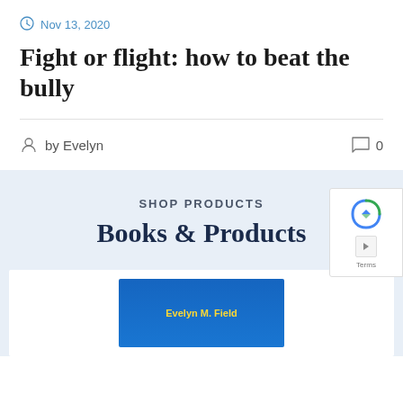Nov 13, 2020
Fight or flight: how to beat the bully
by Evelyn   0
SHOP PRODUCTS
Books & Products
[Figure (photo): Book cover showing 'Evelyn M. Field' text on a blue background]